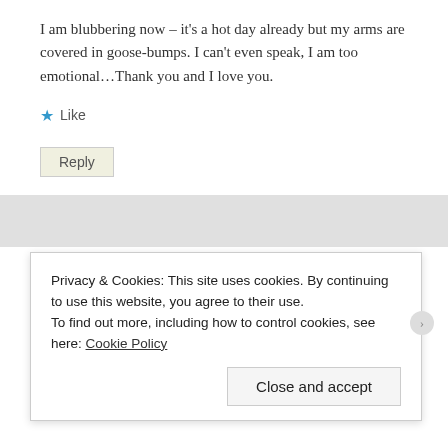I am blubbering now – it's a hot day already but my arms are covered in goose-bumps. I can't even speak, I am too emotional…Thank you and I love you.
★ Like
Reply
Privacy & Cookies: This site uses cookies. By continuing to use this website, you agree to their use.
To find out more, including how to control cookies, see here: Cookie Policy
Close and accept